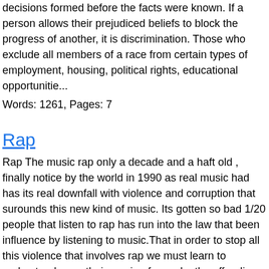decisions formed before the facts were known. If a person allows their prejudiced beliefs to block the progress of another, it is discrimination. Those who exclude all members of a race from certain types of employment, housing, political rights, educational opportunitie...
Words: 1261, Pages: 7
Rap
Rap The music rap only a decade and a haft old , finally notice by the world in 1990 as real music had has its real downfall with violence and corruption that surounds this new kind of music. Its gotten so bad 1/20 people that listen to rap has run into the law that been influence by listening to music.That in order to stop all this violence that involves rap we must learn to understand were their coming from why the offending lyrics. 2 years ago a rapper named Ice Cube(O\'shea Jackson) sang at